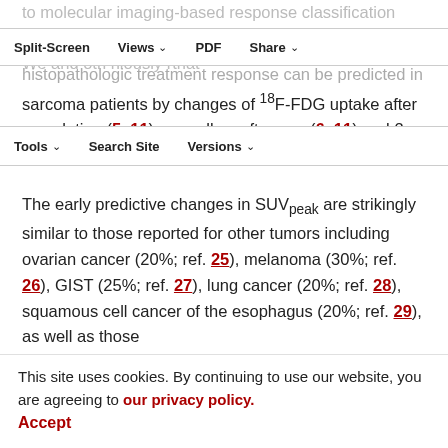to molecular imaging-based response classification system... histopathologic treatment response can be predicted in sarcoma patients by changes of 18F-FDG uptake after completion (5, 11), as well as after one (6, 11) and 2 cycles of chemotherapy (10).
The early predictive changes in SUVpeak are strikingly similar to those reported for other tumors including ovarian cancer (20%; ref. 25), melanoma (30%; ref. 26), GIST (25%; ref. 27), lung cancer (20%; ref. 28), squamous cell cancer of the esophagus (20%; ref. 29), as well as those
This site uses cookies. By continuing to use our website, you are agreeing to our privacy policy. Accept